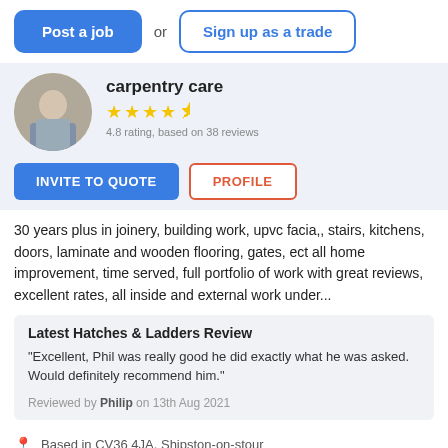[Figure (other): Navigation/CTA bar with two buttons: 'Post a job' (blue filled) and 'Sign up as a trade' (blue outline), separated by 'or']
carpentry care
[Figure (other): Star rating: 4.5 stars (yellow), '4.8 rating, based on 38 reviews']
[Figure (other): Two buttons: 'INVITE TO QUOTE' (blue filled) and 'PROFILE' (red/orange outline)]
30 years plus in joinery, building work, upvc facia,, stairs, kitchens, doors, laminate and wooden flooring, gates, ect all home improvement, time served, full portfolio of work with great reviews, excellent rates, all inside and external work under...
Latest Hatches & Ladders Review
"Excellent, Phil was really good he did exactly what he was asked. Would definitely recommend him."
Reviewed by Philip on 13th Aug 2021
Based in CV36 4JA, Shipston-on-stour
Builder covering Adderbury